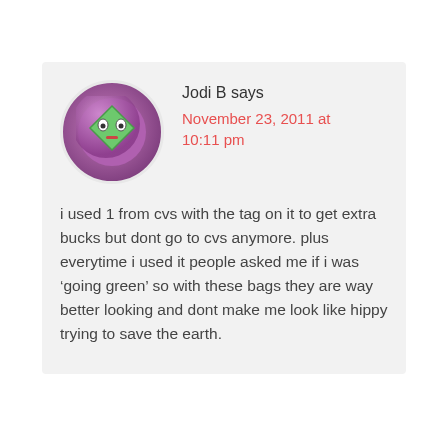[Figure (illustration): Cartoon avatar: a green diamond-shaped face with eyes and a small mouth, on a purple/magenta spherical background]
Jodi B says
November 23, 2011 at 10:11 pm
i used 1 from cvs with the tag on it to get extra bucks but dont go to cvs anymore. plus everytime i used it people asked me if i was ‘going green’ so with these bags they are way better looking and dont make me look like hippy trying to save the earth.